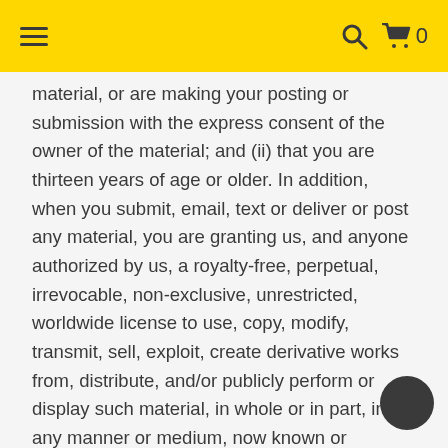material, or are making your posting or submission with the express consent of the owner of the material; and (ii) that you are thirteen years of age or older. In addition, when you submit, email, text or deliver or post any material, you are granting us, and anyone authorized by us, a royalty-free, perpetual, irrevocable, non-exclusive, unrestricted, worldwide license to use, copy, modify, transmit, sell, exploit, create derivative works from, distribute, and/or publicly perform or display such material, in whole or in part, in any manner or medium, now known or hereafter developed, for any purpose. The foregoing grant shall include the